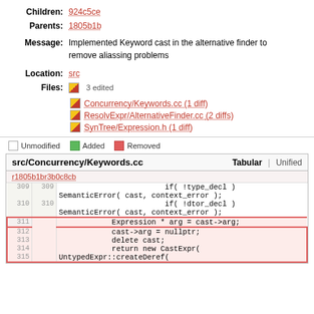Children: 924c5ce
Parents: 1805b1b
Message: Implemented Keyword cast in the alternative finder to remove aliassing problems
Location: src
Files: 3 edited
Concurrency/Keywords.cc (1 diff)
ResolvExpr/AlternativeFinder.cc (2 diffs)
SynTree/Expression.h (1 diff)
Unmodified  Added  Removed
| src/Concurrency/Keywords.cc | Tabular | Unified |
| --- | --- | --- |
| r1805b1br3b0c8cb |  |  |
| 309 | 309 | if( !type_decl )
SemanticError( cast, context_error ); |
| 310 | 310 | if( !dtor_decl )
SemanticError( cast, context_error ); |
| 311 |  | Expression * arg = cast->arg; |
| 312 |  | cast->arg = nullptr; |
| 313 |  | delete cast; |
| 314 |  | return new CastExpr( |
| 315 |  | UntypedExpr::createDeref( |